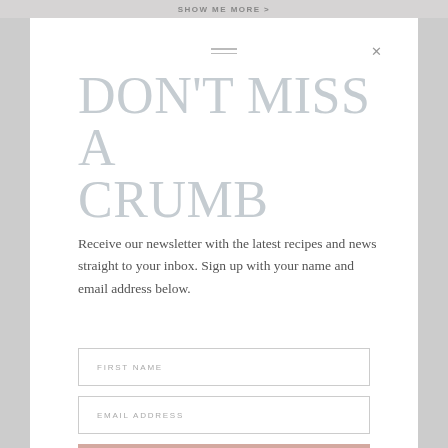SHOW ME MORE >
DON'T MISS A CRUMB
Receive our newsletter with the latest recipes and news straight to your inbox. Sign up with your name and email address below.
FIRST NAME
EMAIL ADDRESS
SUBSCRIBE